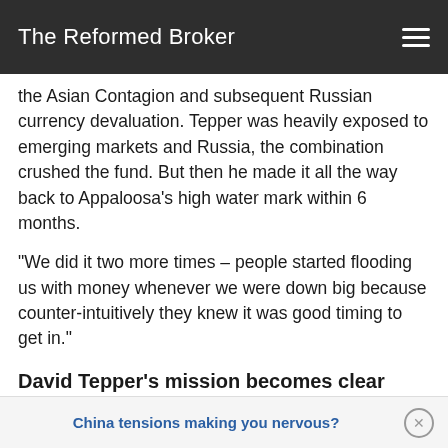The Reformed Broker
the Asian Contagion and subsequent Russian currency devaluation. Tepper was heavily exposed to emerging markets and Russia, the combination crushed the fund. But then he made it all the way back to Appaloosa’s high water mark within 6 months.
“We did it two more times – people started flooding us with money whenever we were down big because counter-intuitively they knew it was good timing to get in.”
David Tepper’s mission becomes clear
David’s in the performance game, not the assets under m[anagement game ... profita]ble...
China tensions making you nervous?